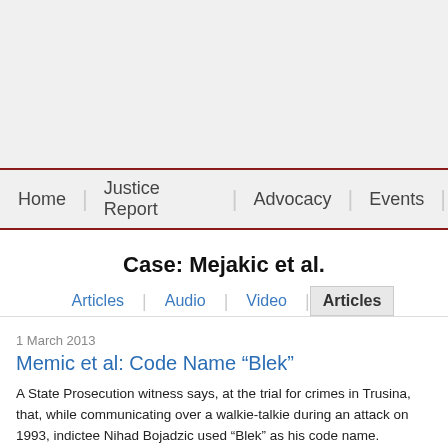Home | Justice Report | Advocacy | Events
Case: Mejakic et al.
Articles | Audio | Video | Articles
1 March 2013
Memic et al: Code Name “Blek”
A State Prosecution witness says, at the trial for crimes in Trusina, that, while communicating over a walkie-talkie during an attack on 1993, indictee Nihad Bojadzic used “Blek” as his code name.